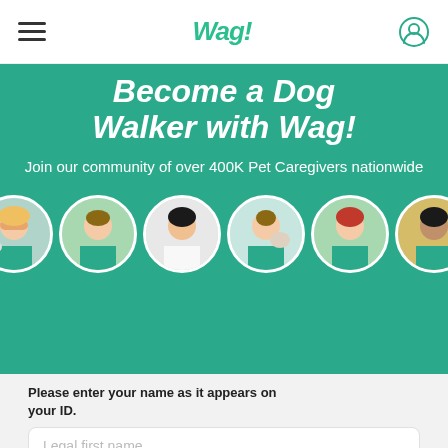Wag! navigation bar with hamburger menu and user icon
Become a Dog Walker with Wag!
Join our community of over 400K Pet Caregivers nationwide
[Figure (photo): Six circular profile photos of Wag! pet caregivers in teal uniforms]
Please enter your name as it appears on your ID.
Legal first name
Legal middle name